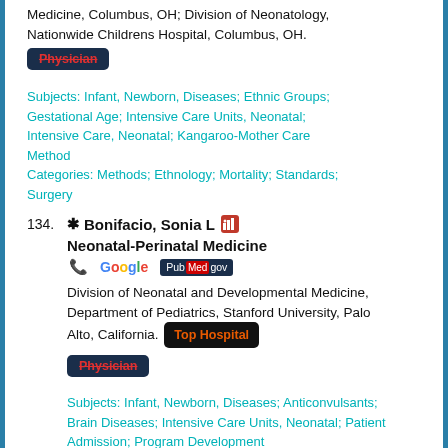Medicine, Columbus, OH; Division of Neonatology, Nationwide Childrens Hospital, Columbus, OH.
Physician
Subjects: Infant, Newborn, Diseases; Ethnic Groups; Gestational Age; Intensive Care Units, Neonatal; Intensive Care, Neonatal; Kangaroo-Mother Care Method
Categories: Methods; Ethnology; Mortality; Standards; Surgery
134. * Bonifacio, Sonia L [icon] Neonatal-Perinatal Medicine
Division of Neonatal and Developmental Medicine, Department of Pediatrics, Stanford University, Palo Alto, California. Top Hospital
Physician
Subjects: Infant, Newborn, Diseases; Anticonvulsants; Brain Diseases; Intensive Care Units, Neonatal; Patient Admission; Program Development
Categories: Diagnosis; Drug Therapy; Organization &